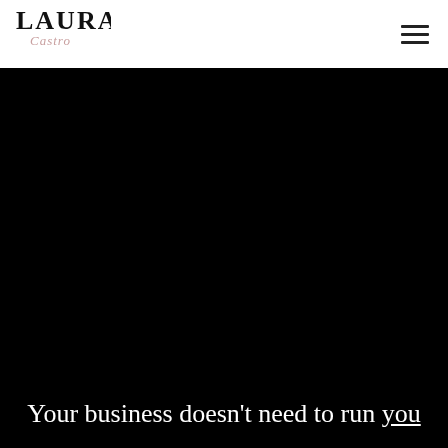Laura Castro — navigation header with logo and hamburger menu
[Figure (logo): Laura Castro logo in black serif/script typography]
[Figure (photo): Large dark/black hero image section]
Your business doesn't need to run you